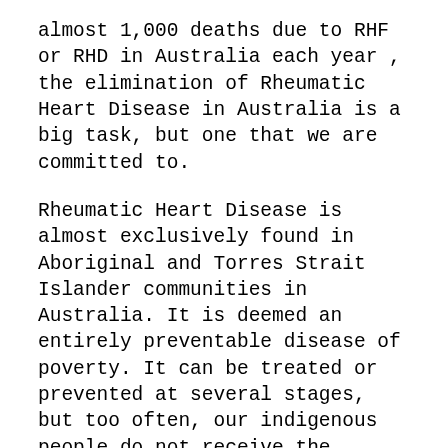almost 1,000 deaths due to RHF or RHD in Australia each year , the elimination of Rheumatic Heart Disease in Australia is a big task, but one that we are committed to.
Rheumatic Heart Disease is almost exclusively found in Aboriginal and Torres Strait Islander communities in Australia. It is deemed an entirely preventable disease of poverty. It can be treated or prevented at several stages, but too often, our indigenous people do not receive the treatment they need.
This is not acceptable.
Eliminating RHD is a big step in reducing – and eventually removing - the overall mortality and health gap between indigenous and non-